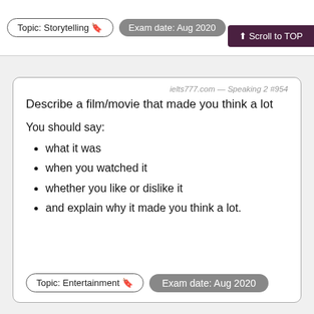Topic: Storytelling 🔖   Exam date: Aug 2020   ↑ Scroll to TOP
ielts777.com — Speaking 2 #954
Describe a film/movie that made you think a lot
You should say:
what it was
when you watched it
whether you like or dislike it
and explain why it made you think a lot.
Topic: Entertainment 🔖   Exam date: Aug 2020